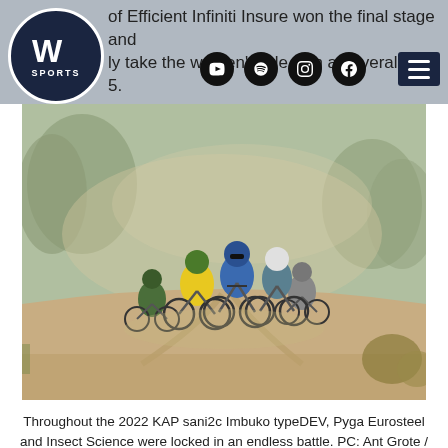of Efficient Infiniti Insure won the final stage and ly take the women's title with an overall time 5.
[Figure (logo): WV Sports circular logo — dark navy circle with white W and SPORTS text]
[Figure (infographic): Social media icon row: YouTube, Spotify, Instagram, Facebook circular black icons]
[Figure (photo): Mountain bike race group riding on dusty gravel road. Riders include one in yellow jersey, one in blue, others in green and grey kits. Trees and dust cloud in background.]
Throughout the 2022 KAP sani2c Imbuko typeDEV, Pyga Eurosteel and Insect Science were locked in an endless battle. PC: Ant Grote / sani2c